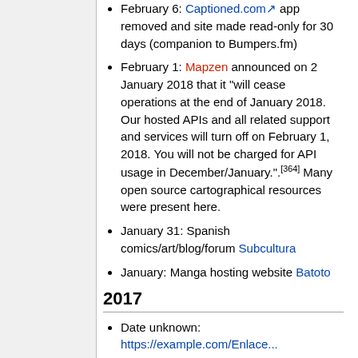February 6: Captioned.com app removed and site made read-only for 30 days (companion to Bumpers.fm)
February 1: Mapzen announced on 2 January 2018 that it "will cease operations at the end of January 2018. Our hosted APIs and all related support and services will turn off on February 1, 2018. You will not be charged for API usage in December/January.".[364] Many open source cartographical resources were present here.
January 31: Spanish comics/art/blog/forum Subcultura
January: Manga hosting website Batoto
2017
Date unknown: